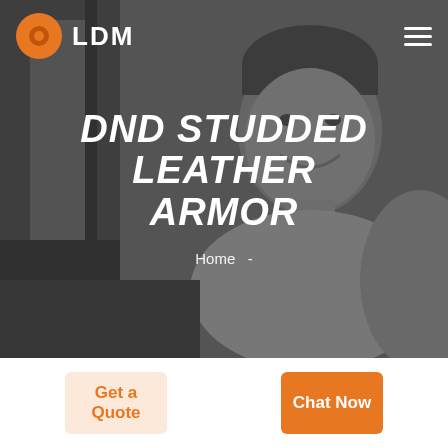[Figure (photo): A grayscale background photo of a smiling man in a casual setting, used as the hero banner background.]
LDM
DND STUDDED LEATHER ARMOR
Home  -
Get a Quote
Chat Now